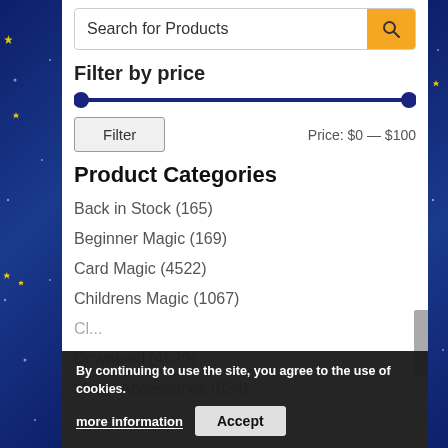Product Search
Search for Products
Filter by price
Filter   Price: $0 — $100
Product Categories
Back in Stock (165)
Beginner Magic (169)
Card Magic (4522)
Childrens Magic (1067)
Download (4520)
Magic Accessories (834)
By continuing to use the site, you agree to the use of cookies.
more information   Accept